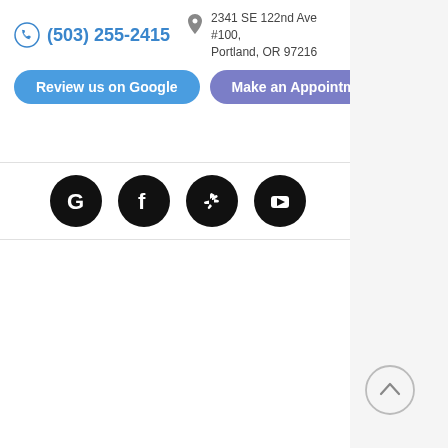(503) 255-2415
2341 SE 122nd Ave #100, Portland, OR 97216
Review us on Google
Make an Appointment
[Figure (logo): Social media icons row: Google, Facebook, Yelp, YouTube — black circles with white logos]
[Figure (other): Back to top button — circle with upward chevron, bottom right corner]